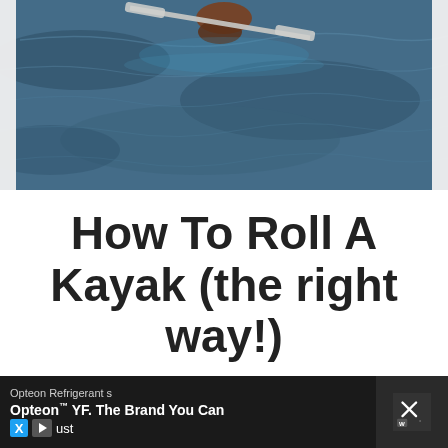[Figure (photo): A kayaker capsized in water, seen from above with blue rippling water and the kayak paddle visible]
How To Roll A Kayak (the right way!)
Rolling a kayak (also known as an Eskimo Roll) can be a tricky skill to master but it can also be a pretty useful one if you find yourself capsized in a
Opteon Refrigerants  Opteon™ YF. The Brand You Can Trust